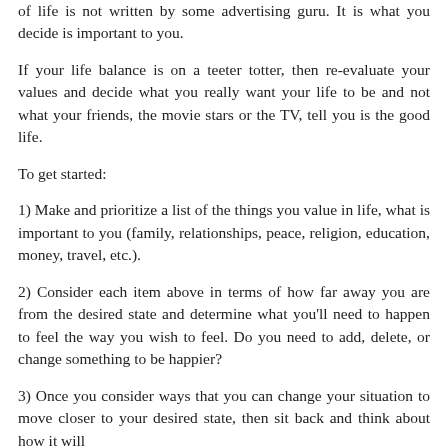of life is not written by some advertising guru. It is what you decide is important to you.
If your life balance is on a teeter totter, then re-evaluate your values and decide what you really want your life to be and not what your friends, the movie stars or the TV, tell you is the good life.
To get started:
1) Make and prioritize a list of the things you value in life, what is important to you (family, relationships, peace, religion, education, money, travel, etc.).
2) Consider each item above in terms of how far away you are from the desired state and determine what you'll need to happen to feel the way you wish to feel. Do you need to add, delete, or change something to be happier?
3) Once you consider ways that you can change your situation to move closer to your desired state, then sit back and think about how it will